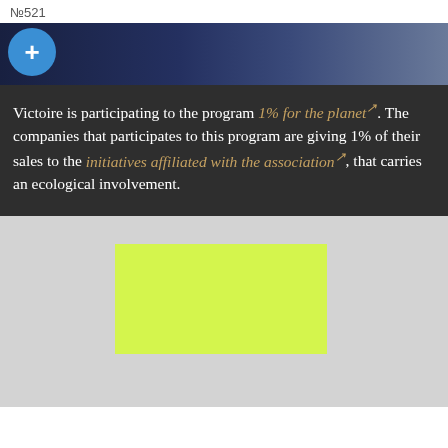№521
[Figure (photo): Partial photo strip showing a blue circle with a plus/cross symbol on a dark background, with figures visible in the background.]
Victoire is participating to the program 1% for the planet↗. The companies that participates to this program are giving 1% of their sales to the initiatives affiliated with the association↗, that carries an ecological involvement.
[Figure (illustration): Light gray rectangle containing a yellow-green (lime) rectangle in the center-right area, partially visible at the bottom of the page.]